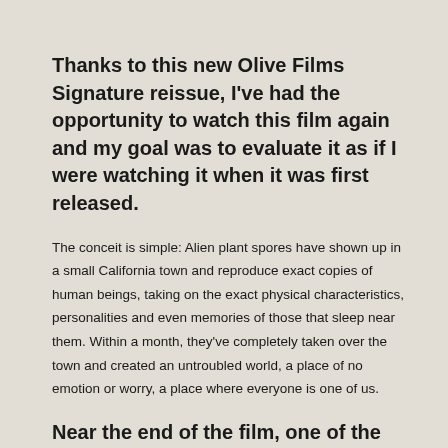Thanks to this new Olive Films Signature reissue, I've had the opportunity to watch this film again and my goal was to evaluate it as if I were watching it when it was first released.
The conceit is simple: Alien plant spores have shown up in a small California town and reproduce exact copies of human beings, taking on the exact physical characteristics, personalities and even memories of those that sleep near them. Within a month, they've completely taken over the town and created an untroubled world, a place of no emotion or worry, a place where everyone is one of us.
Near the end of the film, one of the pod people tells our hero, Dr. Miles J. Bennel (Kevin McCarthy) that their way is so much better. “Love, desire, ambition, faith – without them, life’s so simple, believe me.” When he exclaims that he wants no part of this new world, he’s told that he has no choice.